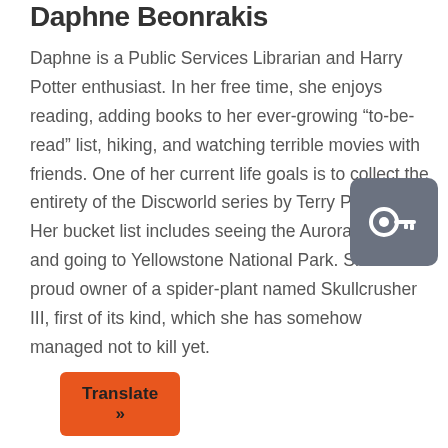Daphne Beonrakis
Daphne is a Public Services Librarian and Harry Potter enthusiast. In her free time, she enjoys reading, adding books to her ever-growing “to-be-read” list, hiking, and watching terrible movies with friends. One of her current life goals is to collect the entirety of the Discworld series by Terry Pratchett. Her bucket list includes seeing the Aurora Borealis and going to Yellowstone National Park. She is the proud owner of a spider-plant named Skullcrusher III, first of its kind, which she has somehow managed not to kill yet.
[Figure (logo): Gray rounded square badge with a white lightbulb/key icon (Pear Deck or similar branding logo)]
Translate »